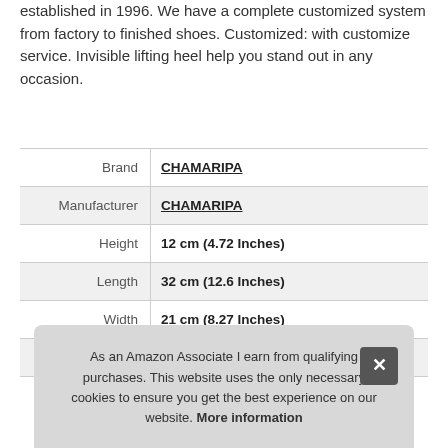established in 1996. We have a complete customized system from factory to finished shoes. Customized: with customize service. Invisible lifting heel help you stand out in any occasion.
|  |  |
| --- | --- |
| Brand | CHAMARIPA |
| Manufacturer | CHAMARIPA |
| Height | 12 cm (4.72 Inches) |
| Length | 32 cm (12.6 Inches) |
| Width | 21 cm (8.27 Inches) |
| P |  |
As an Amazon Associate I earn from qualifying purchases. This website uses the only necessary cookies to ensure you get the best experience on our website. More information